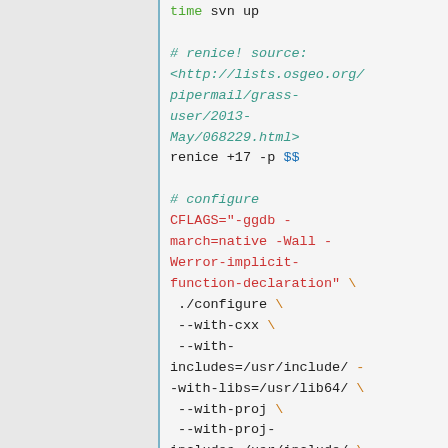time svn up

# renice! source: <http://lists.osgeo.org/pipermail/grass-user/2013-May/068229.html>
renice +17 -p $$

# configure
CFLAGS="-ggdb -march=native -Wall -Werror-implicit-function-declaration" \
./configure \
--with-cxx \
--with-includes=/usr/include/ --with-libs=/usr/lib64/ \
--with-proj \
--with-proj-includes=/usr/include/ \
--with-proj-libs=/usr/lib64/ \
--with-proj-